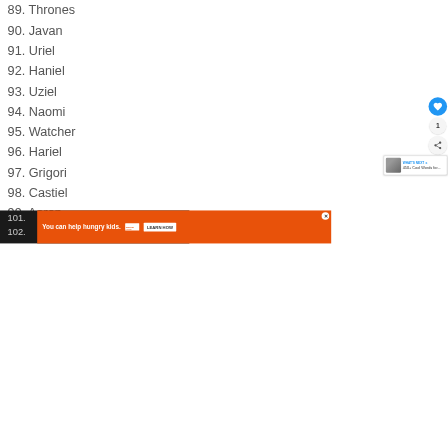89. Thrones
90. Javan
91. Uriel
92. Haniel
93. Uziel
94. Naomi
95. Watcher
96. Hariel
97. Grigori
98. Castiel
99. Aaron
100. Zaqiel
101.
102.